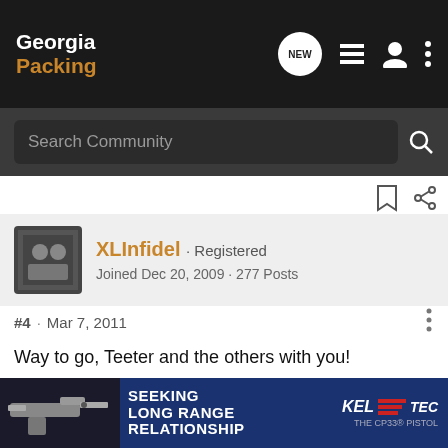Georgia Packing
Search Community
XLInfidel · Registered
Joined Dec 20, 2009 · 277 Posts
#4 · Mar 7, 2011
Way to go, Teeter and the others with you!
"Necessity is the plea for every infringement of human freedom. It is the argu
[Figure (screenshot): Kel-Tec CP33 pistol advertisement banner: SEEKING LONG RANGE RELATIONSHIP with gun image]